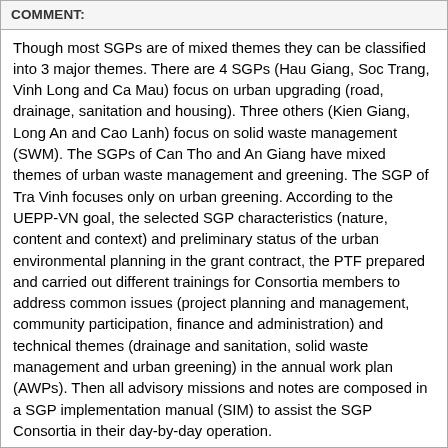COMMENT:
Though most SGPs are of mixed themes they can be classified into 3 major themes. There are 4 SGPs (Hau Giang, Soc Trang, Vinh Long and Ca Mau) focus on urban upgrading (road, drainage, sanitation and housing). Three others (Kien Giang, Long An and Cao Lanh) focus on solid waste management (SWM). The SGPs of Can Tho and An Giang have mixed themes of urban waste management and greening. The SGP of Tra Vinh focuses only on urban greening. According to the UEPP-VN goal, the selected SGP characteristics (nature, content and context) and preliminary status of the urban environmental planning in the grant contract, the PTF prepared and carried out different trainings for Consortia members to address common issues (project planning and management, community participation, finance and administration) and technical themes (drainage and sanitation, solid waste management and urban greening) in the annual work plan (AWPs). Then all advisory missions and notes are composed in a SGP implementation manual (SIM) to assist the SGP Consortia in their day-by-day operation.
All Consortia have now completed their SGPs on time and to good quality. The An Giang Consortium established a waste colleting system of 10 tons per day, watered the existing trees and 12000 newly planted trees for the tourist area of Sam Mountain in Chau Doc Town. The Ca Mau Consortium designed, mobilized local residents and rehabilitated the street and riverside of 125 households as model for the city to upgrade all riverside segments in the City. Can Tho Consortium campaigned, provided media tools and books, planted trees to